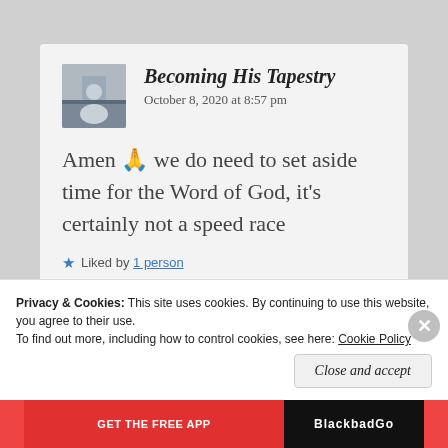Becoming His Tapestry
October 8, 2020 at 8:57 pm
Amen 🙏 we do need to set aside time for the Word of God, it’s certainly not a speed race
Liked by 1 person
Privacy & Cookies: This site uses cookies. By continuing to use this website, you agree to their use.
To find out more, including how to control cookies, see here: Cookie Policy
Close and accept